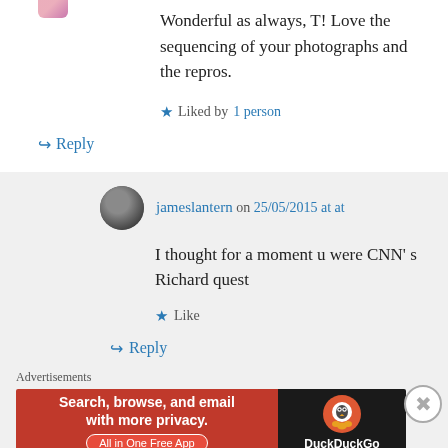Wonderful as always, T! Love the sequencing of your photographs and the repros.
★ Liked by 1 person
↪ Reply
jameslantern on 25/05/2015 at at
I thought for a moment u were CNN' s Richard quest
★ Like
↪ Reply
Advertisements
[Figure (other): DuckDuckGo advertisement banner: 'Search, browse, and email with more privacy. All in One Free App' with DuckDuckGo logo on dark background]